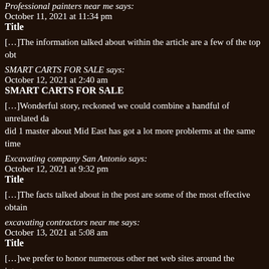Professional painters near me says:
October 11, 2021 at 11:34 pm
Title
[…]The information talked about within the article are a few of the top obt…
SMART CARTS FOR SALE says:
October 12, 2021 at 2:40 am
SMART CARTS FOR SALE
[…]Wonderful story, reckoned we could combine a handful of unrelated da… did 1 master about Mid East has got a lot more problerms at the same time…
Excavating company San Antonio says:
October 12, 2021 at 9:32 pm
Title
[…]The facts talked about in the post are some of the most effective obtain…
excavating contractors near me says:
October 13, 2021 at 5:08 am
Title
[…]we prefer to honor numerous other net web sites around the internet, e… Under are some webpages worth checking out[…]
savage 110 tactical says:
October 13, 2021 at 9:17…